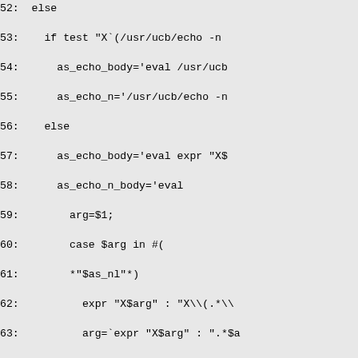[Figure (screenshot): Source code listing showing shell script lines 52-81, displaying bash/sh code for echo body and path separator configuration. Lines shown with line numbers followed by code content. Background is light gray.]